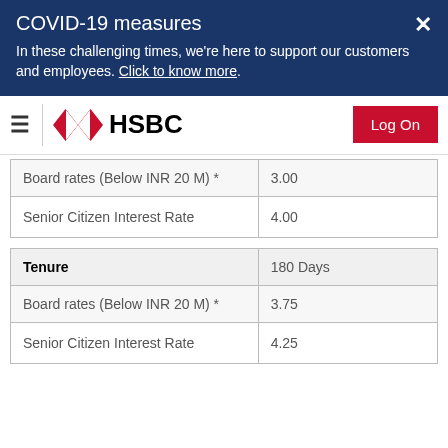COVID-19 measures
In these challenging times, we're here to support our customers and employees. Click to know more.
[Figure (logo): HSBC logo with red hexagon diamonds and HSBC text, hamburger menu icon on left, Log On button on right]
| Board rates (Below INR 20 M) * | 3.00 |
| Senior Citizen Interest Rate | 4.00 |
| Tenure | 180 Days |
| --- | --- |
| Board rates (Below INR 20 M) * | 3.75 |
| Senior Citizen Interest Rate | 4.25 |